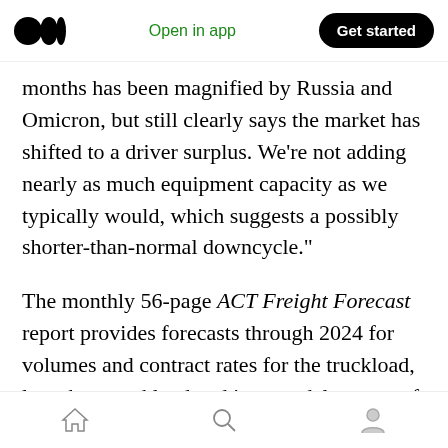Open in app | Get started
months has been magnified by Russia and Omicron, but still clearly says the market has shifted to a driver surplus. We’re not adding nearly as much equipment capacity as we typically would, which suggests a possibly shorter-than-normal downcycle.”
The monthly 56-page ACT Freight Forecast report provides forecasts through 2024 for volumes and contract rates for the truckload, less-than-truckload and intermodal sectors of the transportation industry, including the Cass
home | search | profile